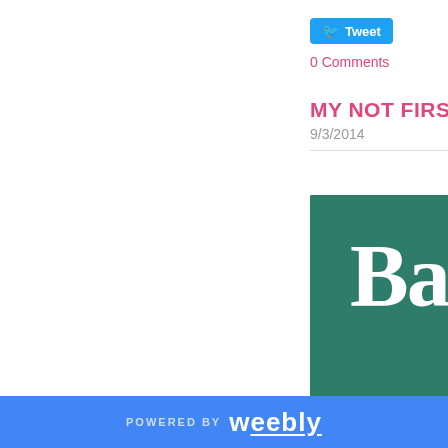Tweet
0 Comments
MY NOT FIRST DA
9/3/2014
[Figure (photo): Back to school image with chalkboard showing 'Back' text, a green apple, chalk pieces, and stacked books on a shelf]
POWERED BY weebly